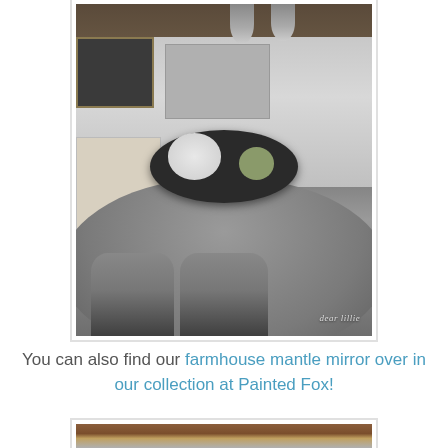[Figure (photo): Interior photo of a farmhouse-style kitchen and dining room. A gray round dining table is centered with a black oval tray holding white flowers and a green pumpkin. Metal dining chairs surround the table. In the background, gray kitchen cabinets, a bookshelf/wine rack on the left, pendant lights, and kitchen appliances are visible. A watermark reading 'dear lillie' appears in the bottom right.]
You can also find our farmhouse mantle mirror over in our collection at Painted Fox!
[Figure (photo): Partial photo showing what appears to be a wooden frame or mirror top, with wood grain visible.]